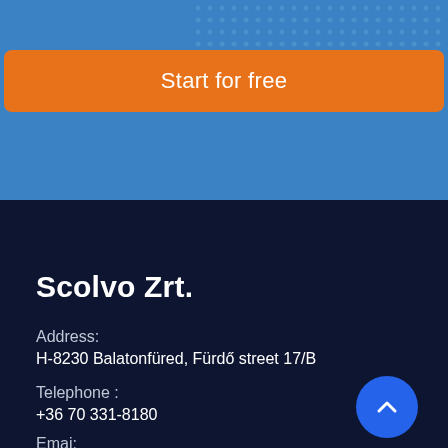[Figure (other): Blue background section with dot pattern at top right]
Start for free
Scolvo Zrt.
Address:
H-8230 Balatonfüred, Fürdő street 17/B
Telephone :
+36 70 331-8180
Emai: